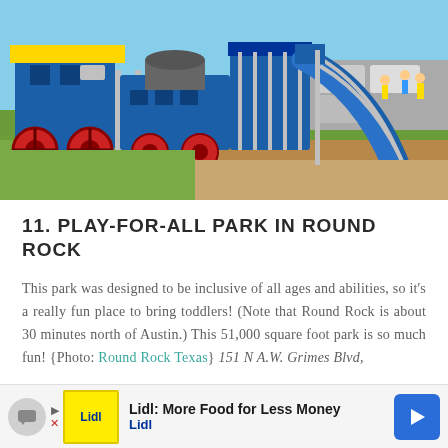[Figure (photo): Outdoor playground with blue train-themed play structure featuring red wheels, slides, tunnels, and climbing elements on green and brown rubberized ground surface. Children and adults visible in background.]
11. PLAY-FOR-ALL PARK IN ROUND ROCK
This park was designed to be inclusive of all ages and abilities, so it's a really fun place to bring toddlers! (Note that Round Rock is about 30 minutes north of Austin.) This 51,000 square foot park is so much fun! {Photo: Round Rock Texas} 151 N A.W. Grimes Blvd,